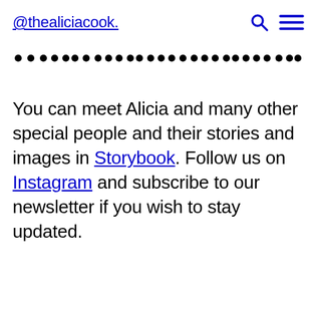@thealiciacook.
[Figure (other): Row of dots acting as a decorative divider]
You can meet Alicia and many other special people and their stories and images in Storybook. Follow us on Instagram and subscribe to our newsletter if you wish to stay updated.